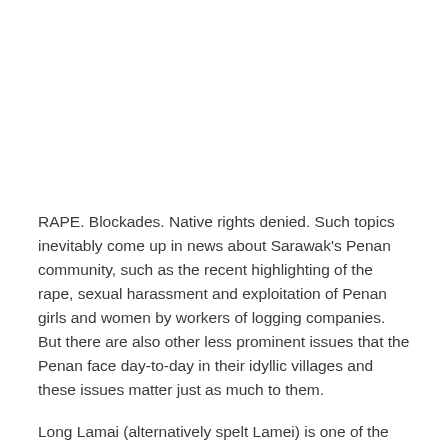RAPE. Blockades. Native rights denied. Such topics inevitably come up in news about Sarawak's Penan community, such as the recent highlighting of the rape, sexual harassment and exploitation of Penan girls and women by workers of logging companies. But there are also other less prominent issues that the Penan face day-to-day in their idyllic villages and these issues matter just as much to them.
Long Lamai (alternatively spelt Lamei) is one of the most progressive Penan communities in the upper reaches of